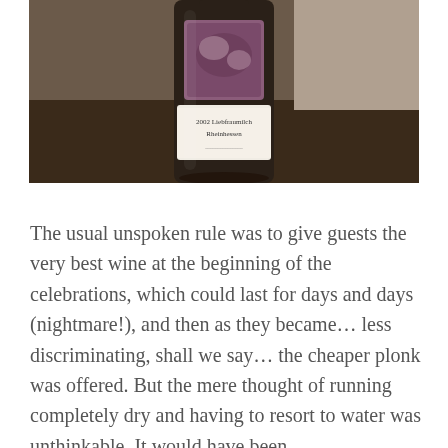[Figure (photo): A photograph of a wine bottle with a label reading '2002 Liebfraumilch Rheinhessen', placed on a dark wooden surface against a neutral background. The bottle has a white label with ornate imagery at the top.]
The usual unspoken rule was to give guests the very best wine at the beginning of the celebrations, which could last for days and days (nightmare!), and then as they became… less discriminating, shall we say… the cheaper plonk was offered. But the mere thought of running completely dry and having to resort to water was unthinkable. It would have been